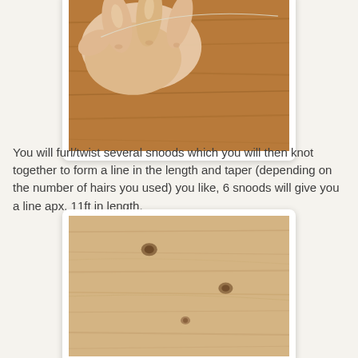[Figure (photo): Close-up photo of a hand holding a thin strand of hair (snood) above a wooden surface, against a wooden background.]
You will furl/twist several snoods which you will then knot together to form a line in the length and taper (depending on the number of hairs you used) you like, 6 snoods will give you a line apx. 11ft in length.
[Figure (photo): Photo of a light-colored wooden plank surface with knots and grain visible, likely showing a snood or hair line laid out on it.]